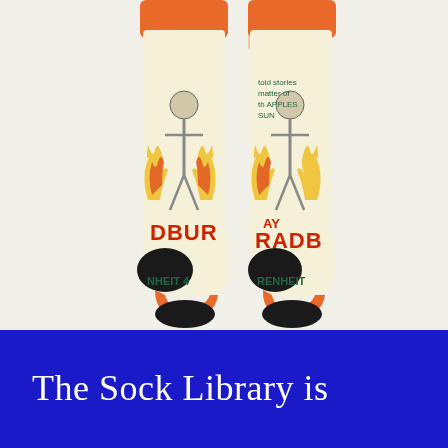[Figure (photo): A pair of human legs wearing Fahrenheit 451 Ray Bradbury themed socks. The socks are cream/off-white with orange cuffs and toe caps, black heels, and feature vintage book cover art showing a figure surrounded by flames and the text 'Bradbury' in red and 'Fahrenheit 45' visible. Background is off-white/light grey.]
The Sock Library is